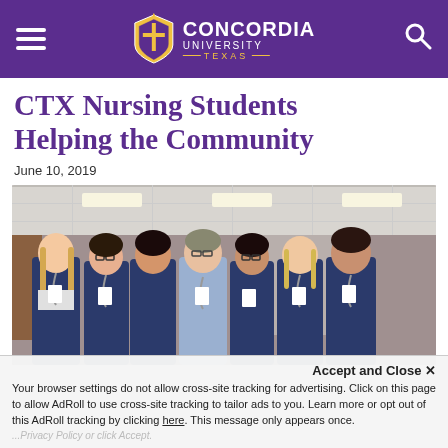Concordia University Texas
CTX Nursing Students Helping the Community
June 10, 2019
[Figure (photo): Group photo of seven nursing students and an instructor wearing navy blue scrubs with stethoscopes and ID badges, standing together in a hospital hallway, smiling at the camera.]
Accept and Close ✕
Your browser settings do not allow cross-site tracking for advertising. Click on this page to allow AdRoll to use cross-site tracking to tailor ads to you. Learn more or opt out of this AdRoll tracking by clicking here. This message only appears once.